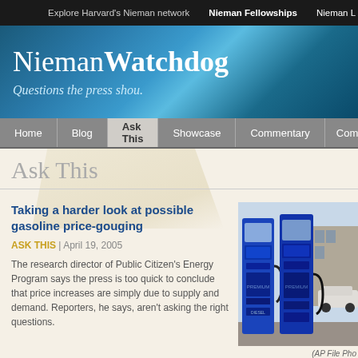Explore Harvard's Nieman network   Nieman Fellowships   Nieman L
NiemanWatchdog — Questions the press shou.
Home | Blog | Ask This | Showcase | Commentary | Comments
Ask This
Taking a harder look at possible gasoline price-gouging
ASK THIS | April 19, 2005
The research director of Public Citizen's Energy Program says the press is too quick to conclude that price increases are simply due to supply and demand. Reporters, he says, aren't asking the right questions.
[Figure (photo): Photo of blue gas pump station with multiple fuel dispensers]
(AP File Pho
By Tyson Slocum